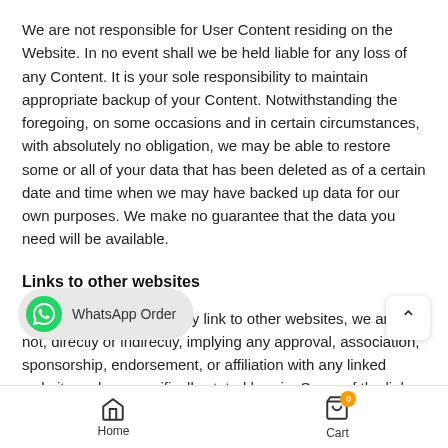We are not responsible for User Content residing on the Website. In no event shall we be held liable for any loss of any Content. It is your sole responsibility to maintain appropriate backup of your Content. Notwithstanding the foregoing, on some occasions and in certain circumstances, with absolutely no obligation, we may be able to restore some or all of your data that has been deleted as of a certain date and time when we may have backed up data for our own purposes. We make no guarantee that the data you need will be available.
Links to other websites
Although this Website may link to other websites, we are not, directly or indirectly, implying any approval, association, sponsorship, endorsement, or affiliation with any linked website, unless specifically stated herein. Some of the links on the Website may be "affiliate li... click on the link and purchase an item, Website Operator will receive an affiliate commission. We are not
[Figure (other): WhatsApp Order button overlay at the bottom left]
Home   Cart (0)